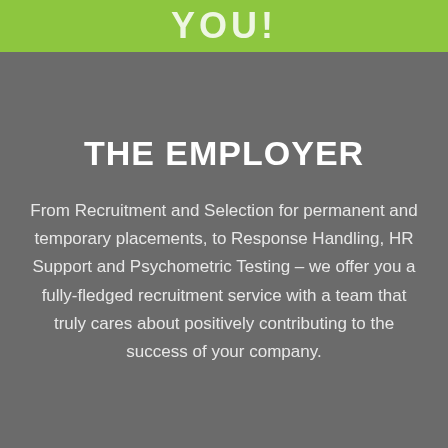YOU!
THE EMPLOYER
From Recruitment and Selection for permanent and temporary placements, to Response Handling, HR Support and Psychometric Testing – we offer you a fully-fledged recruitment service with a team that truly cares about positively contributing to the success of your company.